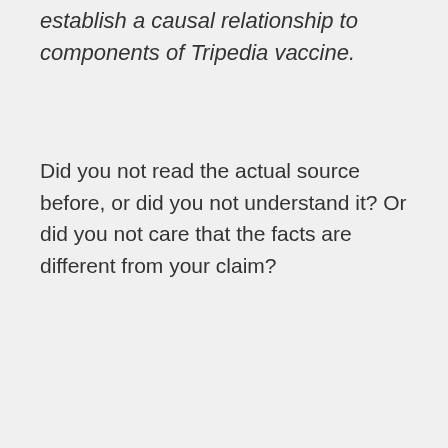establish a causal relationship to components of Tripedia vaccine.
Did you not read the actual source before, or did you not understand it? Or did you not care that the facts are different from your claim?
↳ Reply
douglasjebarnes on September 4, 2015 at 04:25
Ah, the hazards of copying and pasting what you read on an anti-vax site.
Try reading the rules behind what gets put